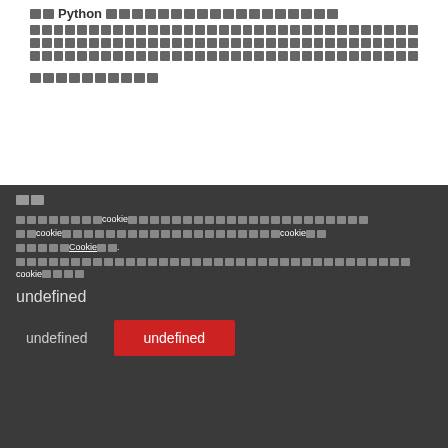■■Python■■■■■■■■■■■■■■■■■
■■■■■■■■■■■■■■■■■■■■■■■■■■■■■■■■■■■■■■■■■■■■■■■■■■■■■■■■■■■■■■■■■■■■■■■■■■■■■■■■■■■■■■■■■■■■■■■■■■■■■■■■■■■■■■■■■■■■■■■■■■■■■■■■■■■■■■■■■■■■■■■■■■■■■■■■■■
■■■■■■■■■■
■■
■■■■■■■■■■cookie■■■■■■■■■■■■■■■■■■■■■■cookie■■■■■■■■■■■■■■■■■■■■cookie■■■■■■■■Cookie■■.
■■■■■■■■■■■■■■■■■■■■■■■■■■■■■■■■■■■■■■■■■cookie■■■■
undefined
undefined
undefined